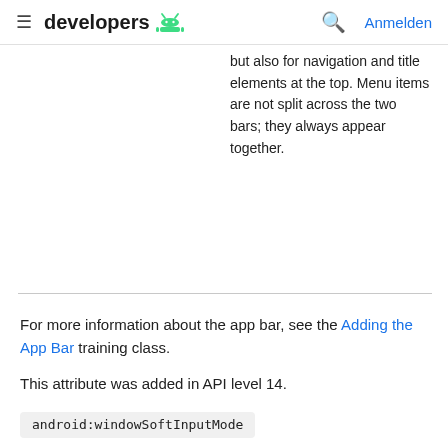≡  developers 🤖    🔍  Anmelden
but also for navigation and title elements at the top. Menu items are not split across the two bars; they always appear together.
For more information about the app bar, see the Adding the App Bar training class.
This attribute was added in API level 14.
android:windowSoftInputMode